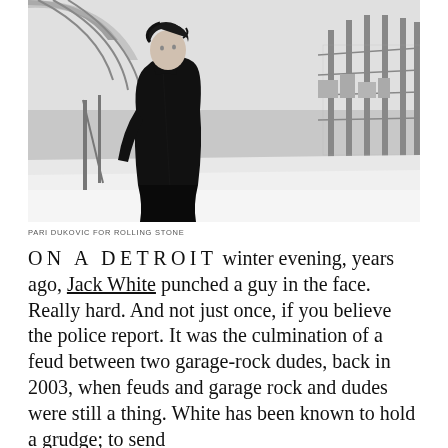[Figure (photo): Black and white photograph of a young person with dark tousled hair wearing a long black coat, standing on a pedestrian bridge or walkway with railings and chain-link fence visible behind them. Urban winter scene, taken from a low angle.]
PARI DUKOVIC FOR ROLLING STONE
ON A DETROIT winter evening, years ago, Jack White punched a guy in the face. Really hard. And not just once, if you believe the police report. It was the culmination of a feud between two garage-rock dudes, back in 2003, when feuds and garage rock and dudes were still a thing. White has been known to hold a grudge; to send